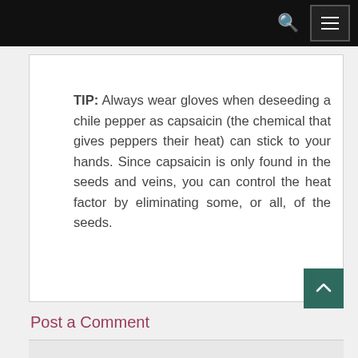TIP: Always wear gloves when deseeding a chile pepper as capsaicin (the chemical that gives peppers their heat) can stick to your hands. Since capsaicin is only found in the seeds and veins, you can control the heat factor by eliminating some, or all, of the seeds.
Post a Comment